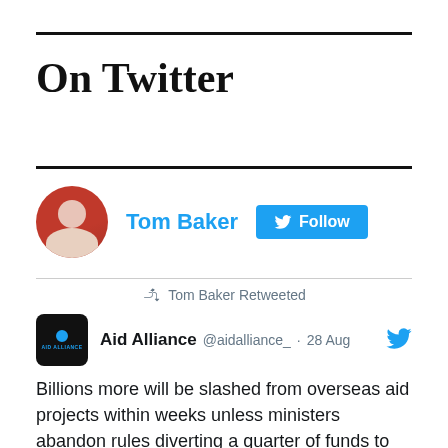On Twitter
[Figure (other): Twitter profile widget for Tom Baker with avatar, name, and Follow button]
Tom Baker Retweeted
Aid Alliance @aidalliance_ · 28 Aug
Billions more will be slashed from overseas aid projects within weeks unless ministers abandon rules diverting a quarter of funds to the costs of Ukrainian refugees in the UK, Save